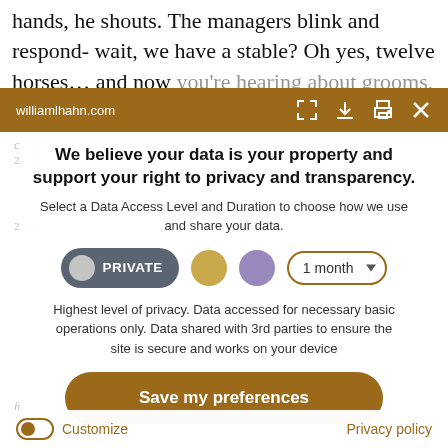hands, he shouts. The managers blink and respond- wait, we have a stable? Oh yes, twelve horses… and now you're hearing about grooms, and the different operas
williamlhahn.com
We believe your data is your property and support your right to privacy and transparency.
Select a Data Access Level and Duration to choose how we use and share your data.
Highest level of privacy. Data accessed for necessary basic operations only. Data shared with 3rd parties to ensure the site is secure and works on your device
Save my preferences
Customize
Privacy policy